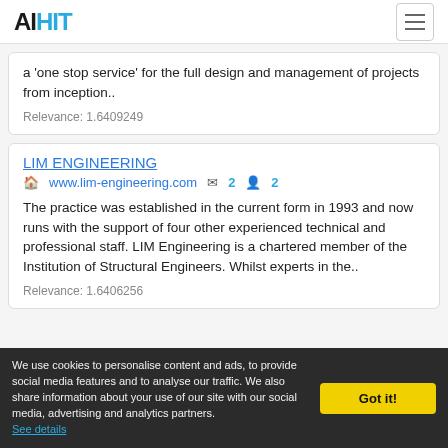AIHIT
a 'one stop service' for the full design and management of projects from inception..
Relevance: 1.6409249
LIM ENGINEERING
www.lim-engineering.com  2  2
The practice was established in the current form in 1993 and now runs with the support of four other experienced technical and professional staff. LIM Engineering is a chartered member of the Institution of Structural Engineers. Whilst experts in the..
Relevance: 1.6406256
We use cookies to personalise content and ads, to provide social media features and to analyse our traffic. We also share information about your use of our site with our social media, advertising and analytics partners. See details